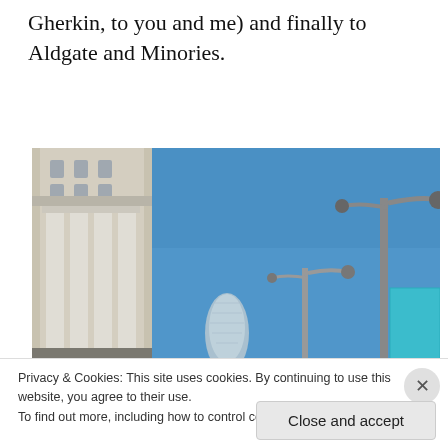Gherkin, to you and me) and finally to Aldgate and Minories.
[Figure (photo): Street-level photograph showing a classical white stone building with columns on the left, a blue sky, a street lamp, and in the background the distinctive curved glass Gherkin skyscraper and a turquoise banner on the right.]
Privacy & Cookies: This site uses cookies. By continuing to use this website, you agree to their use.
To find out more, including how to control cookies, see here: Cookie Policy
Close and accept